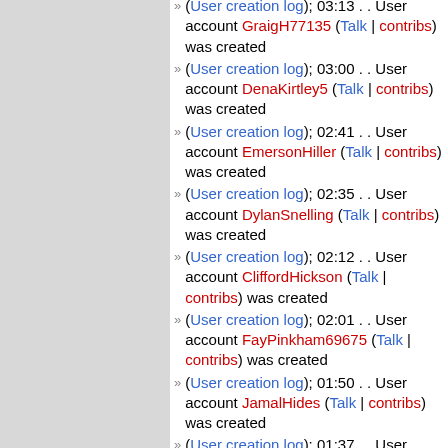(User creation log); 03:13 . . User account GraigH77135 (Talk | contribs) was created
(User creation log); 03:00 . . User account DenaKirtley5 (Talk | contribs) was created
(User creation log); 02:41 . . User account EmersonHiller (Talk | contribs) was created
(User creation log); 02:35 . . User account DylanSnelling (Talk | contribs) was created
(User creation log); 02:12 . . User account CliffordHickson (Talk | contribs) was created
(User creation log); 02:01 . . User account FayPinkham69675 (Talk | contribs) was created
(User creation log); 01:50 . . User account JamalHides (Talk | contribs) was created
(User creation log); 01:37 . . User account SantoHeflin6 (Talk | contribs) was created